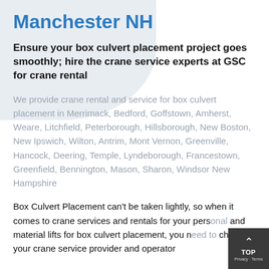Manchester NH
Ensure your box culvert placement project goes smoothly; hire the crane service experts at GSC for crane rental
We provide crane rental and service for box culvert placement in Merrimack, Bedford, Goffstown, Amherst, Weare, Litchfield, Peterborough, Hillsborough, New Boston, New Ipswich, Wilton, Antrim, Mont Vernon, Greenville, Hancock, Deering, Temple, Lyndeborough, Francestown, Greenfield, Bennington, Mason, Sharon, Windsor New Hampshire
Box Culvert Placement can't be taken lightly, so when it comes to crane services and rentals for your personal and material lifts for box culvert placement, you need to choose your crane service provider and operator